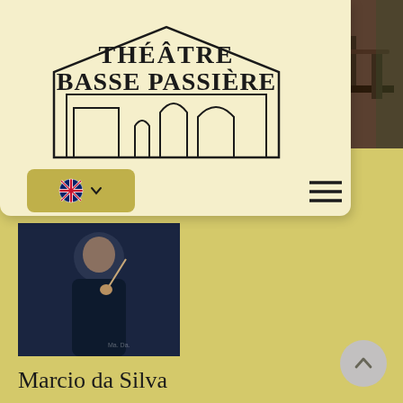[Figure (logo): Théâtre Basse Passière logo with building outline and text]
[Figure (photo): Small photo of chairs/interior top right corner]
[Figure (screenshot): UK flag language selector dropdown and hamburger menu icon]
[Figure (photo): Marcio da Silva conducting photo, dark background]
Marcio da Silva
www.marciodasilva.com
Born in 1983 in Belo Horizonte, Brazil, Marcio da Silva began his music studies at the age of 9 with piano lessons and choral singing. After a lifetime of international music studies and securing a Bachelor's and